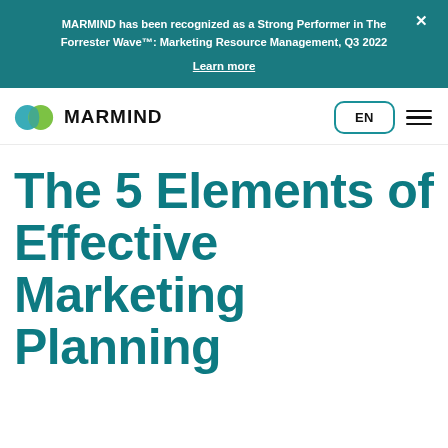MARMIND has been recognized as a Strong Performer in The Forrester Wave™: Marketing Resource Management, Q3 2022
Learn more
[Figure (logo): MARMIND logo with two overlapping leaf shapes (teal and green) beside bold text MARMIND]
EN
The 5 Elements of Effective Marketing Planning